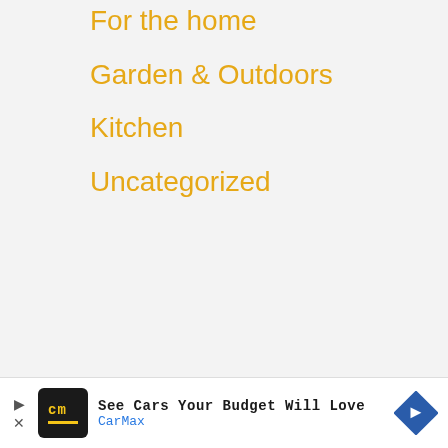For the home
Garden & Outdoors
Kitchen
Uncategorized
Inform…
Contac…
Privacy…
Terms of Services
[Figure (screenshot): CarMax advertisement banner at bottom: 'See Cars Your Budget Will Love' with CarMax logo and navigation arrow icon]